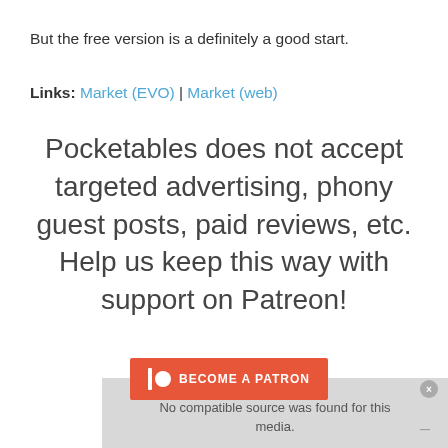But the free version is a definitely a good start.
Links: Market (EVO) | Market (web)
Pocketables does not accept targeted advertising, phony guest posts, paid reviews, etc. Help us keep this way with support on Patreon!
[Figure (screenshot): Red Patreon 'Become a Patron' button followed by a gray media player box showing 'No compatible source was found for this media.' error, with an Android watermark and an X close icon visible.]